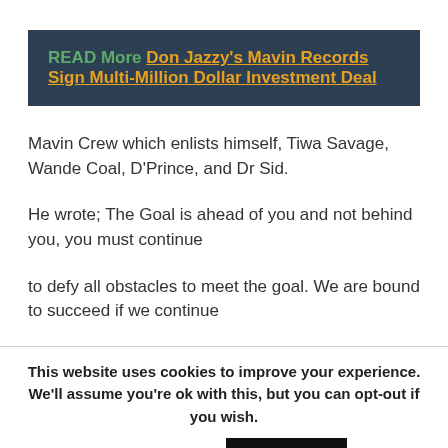READ More  Don Jazzy's Mavin Records Sign Multi-Million Dollar Investment Deal
Mavin Crew which enlists himself, Tiwa Savage, Wande Coal, D'Prince, and Dr Sid.
He wrote; The Goal is ahead of you and not behind you, you must continue
to defy all obstacles to meet the goal. We are bound to succeed if we continue
This website uses cookies to improve your experience. We'll assume you're ok with this, but you can opt-out if you wish.
Cookie settings    ACCEPT